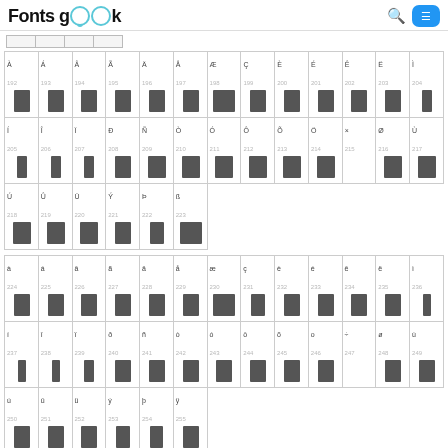Fonts geek
| À 192 | Á 193 | Â 194 | Ã 195 | Ä 196 | Å 197 | Æ 198 | Ç 199 | È 200 | É 201 | Ê 202 | Ë 203 | Ì 204 | Í 205 | Î 206 | Ï 207 | Ð 208 | Ñ 209 | Ò 210 | Ó 211 | Ô 212 | Õ 213 | Ö 214 | × 215 | Ø 216 | Ù 217 | Ú 218 | Û 219 | Ü 220 | Ý 221 | Þ 222 | ß 223 |
| --- | --- | --- | --- | --- | --- | --- | --- | --- | --- | --- | --- | --- | --- | --- | --- | --- | --- | --- | --- | --- | --- | --- | --- | --- | --- | --- | --- | --- | --- | --- | --- |
| à 224 | á 225 | â 226 | ã 227 | ä 228 | å 229 | æ 230 | ç 231 | è 232 | é 233 | ê 234 | ë 235 | ì 236 | í 237 | î 238 | ï 239 | ð 240 | ñ 241 | ò 242 | ó 243 | ô 244 | õ 245 | ö 246 | ÷ 247 | ø 248 | ù 249 | ú 250 | û 251 | ü 252 | ý 253 | þ 254 | ÿ 255 |
| --- | --- | --- | --- | --- | --- | --- | --- | --- | --- | --- | --- | --- | --- | --- | --- | --- | --- | --- | --- | --- | --- | --- | --- | --- | --- | --- | --- | --- | --- | --- | --- |
Copyright fontsgeek.com